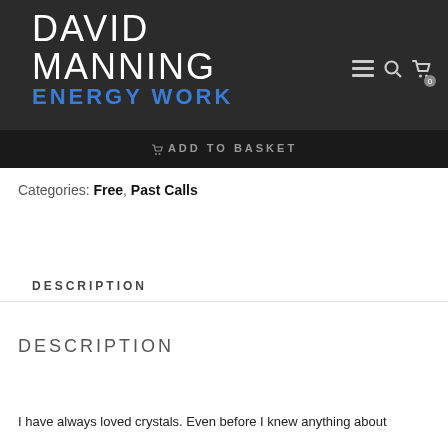DAVID MANNING ENERGY WORK
ADD TO BASKET
Categories: Free, Past Calls
DESCRIPTION
DESCRIPTION
I have always loved crystals. Even before I knew anything about